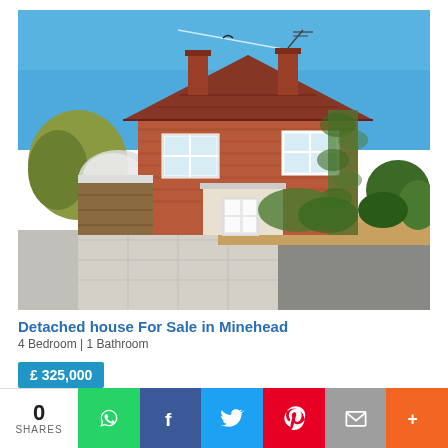[Figure (photo): Exterior photo of a detached red-brick two-storey house with tiled roof, two chimneys, white-framed windows, front porch, garage behind wooden fence on left, brick garden wall in foreground, driveway, and lush greenery under a clear blue sky.]
Detached house For Sale in Minehead
4 Bedroom | 1 Bathroom
£ 325,000
0 SHARES